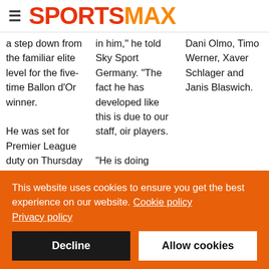SPORTSMAX
a step down from the familiar elite level for the five-time Ballon d'Or winner.

He was set for Premier League duty on Thursday
in him," he told Sky Sport Germany. "The fact he has developed like this is due to our staff, oir players.

"He is doing excellently. It's fun
Dani Olmo, Timo Werner, Xaver Schlager and Janis Blaswich.
This website uses cookies to ensure you get the best experience on our website. Cookie policy
Privacy policy
Decline
Allow cookies